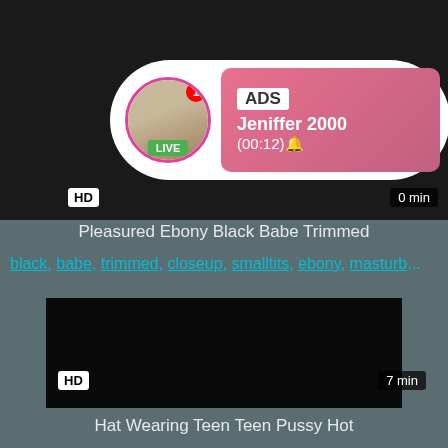[Figure (screenshot): Video thumbnail - dark/black top section with an ad overlay showing a circular avatar with LIVE badge, notification badge, ADS label, name 'Jeniffer 2000', time '(00:12)'. HD badge bottom left, duration badge bottom right partially visible.]
Pleasured Ebony Black Babe Trimmed
black, babe, trimmed, closeup, smalltits, ebony, masturb...
[Figure (screenshot): Black video thumbnail with HD badge bottom left and '7 min' badge bottom right.]
Hat Wearing Teen Teen Pussy Hot